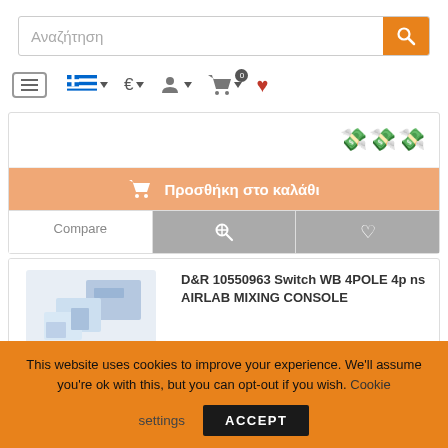[Figure (screenshot): Greek e-commerce website screenshot showing search bar with magnifying glass button, navigation row with hamburger menu, Greek flag, euro sign, user icon, shopping cart with badge 0, and heart icon. Below shows an add to cart button in orange saying Προσθήκη στο καλάθι, Compare/search/heart action row, and a product card for D&R 10550963 Switch WB 4POLE 4p ns AIRLAB MIXING CONSOLE with a product image on the left.]
This website uses cookies to improve your experience. We'll assume you're ok with this, but you can opt-out if you wish. Cookie settings ACCEPT